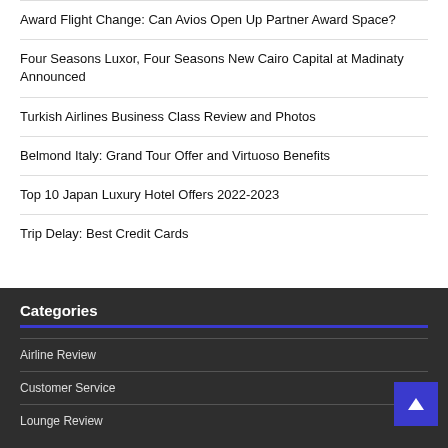Award Flight Change: Can Avios Open Up Partner Award Space?
Four Seasons Luxor, Four Seasons New Cairo Capital at Madinaty Announced
Turkish Airlines Business Class Review and Photos
Belmond Italy: Grand Tour Offer and Virtuoso Benefits
Top 10 Japan Luxury Hotel Offers 2022-2023
Trip Delay: Best Credit Cards
Categories
Airline Review
Customer Service
Lounge Review